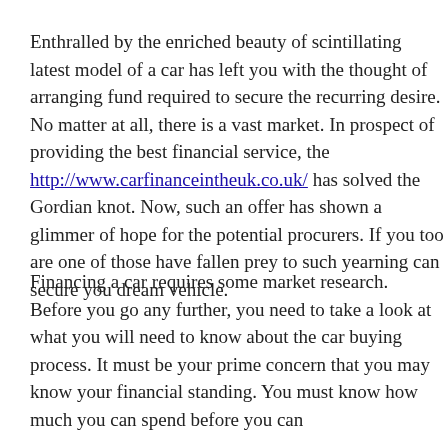Enthralled by the enriched beauty of scintillating latest model of a car has left you with the thought of arranging fund required to secure the recurring desire. No matter at all, there is a vast market. In prospect of providing the best financial service, the http://www.carfinanceintheuk.co.uk/ has solved the Gordian knot. Now, such an offer has shown a glimmer of hope for the potential procurers. If you too are one of those have fallen prey to such yearning can secure you dream vehicle.
Financing a car requires some market research. Before you go any further, you need to take a look at what you will need to know about the car buying process. It must be your prime concern that you may know your financial standing. You must know how much you can spend before you can